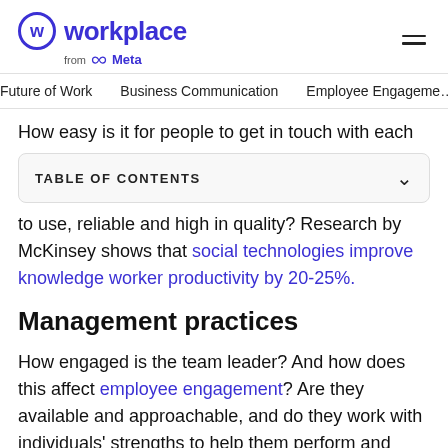Workplace from Meta
Future of Work    Business Communication    Employee Engagement
How easy is it for people to get in touch with each
TABLE OF CONTENTS
to use, reliable and high in quality? Research by McKinsey shows that social technologies improve knowledge worker productivity by 20-25%.
Management practices
How engaged is the team leader? And how does this affect employee engagement? Are they available and approachable, and do they work with individuals' strengths to help them perform and develop?